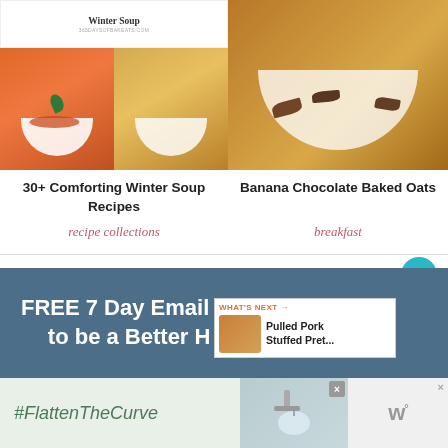[Figure (photo): Collage of winter soup images - top portion cut off with title card, two soup bowls below]
[Figure (photo): Close-up of Banana Chocolate Baked Oats in a white bowl with chocolate chips]
30+ Comforting Winter Soup Recipes
recipe collections
Banana Chocolate Baked Oats
breakfast
10.6K
FREE 7 Day Email Course- How to be a Better Home Cook!
WHAT'S NEXT → Pulled Pork Stuffed Pret...
#FlattenTheCurve